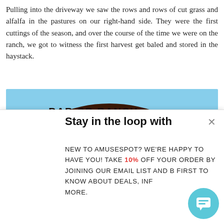Pulling into the driveway we saw the rows and rows of cut grass and alfalfa in the pastures on our right-hand side. They were the first cuttings of the season, and over the course of the time we were on the ranch, we got to witness the first harvest get baled and stored in the haystack.
[Figure (photo): Photo of Bar CR Ranch entrance sign — a large metal arch sign reading 'BAR CR RANCH' with a bull silhouette, set against an open Western landscape with green fields and blue sky. A red heart/like button appears in the bottom-right corner of the photo.]
Stay in the loop with
NEW TO AMUSESPOT? WE'RE HAPPY TO HAVE YOU! TAKE 10% OFF YOUR ORDER BY JOINING OUR EMAIL LIST AND BE FIRST TO KNOW ABOUT DEALS, INFO AND MORE.